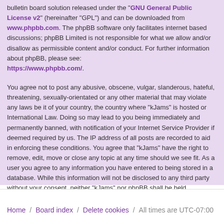bulletin board solution released under the "GNU General Public License v2" (hereinafter "GPL") and can be downloaded from www.phpbb.com. The phpBB software only facilitates internet based discussions; phpBB Limited is not responsible for what we allow and/or disallow as permissible content and/or conduct. For further information about phpBB, please see: https://www.phpbb.com/.
You agree not to post any abusive, obscene, vulgar, slanderous, hateful, threatening, sexually-orientated or any other material that may violate any laws be it of your country, the country where “kJams” is hosted or International Law. Doing so may lead to you being immediately and permanently banned, with notification of your Internet Service Provider if deemed required by us. The IP address of all posts are recorded to aid in enforcing these conditions. You agree that “kJams” have the right to remove, edit, move or close any topic at any time should we see fit. As a user you agree to any information you have entered to being stored in a database. While this information will not be disclosed to any third party without your consent, neither “kJams” nor phpBB shall be held responsible for any hacking attempt that may lead to the data being compromised.
Home / Board index / Delete cookies / All times are UTC-07:00